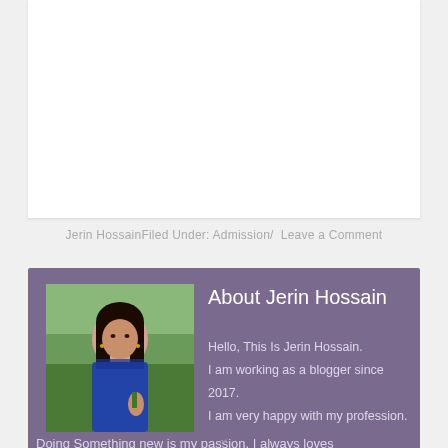Jerin HossainFiled Under: Admission/ Leave a Comment
[Figure (photo): Author bio section with photo of Jerin Hossain (young woman in blue clothing standing in green field) on purple/mauve background]
About Jerin Hossain
Hello, This Is Jerin Hossain.
I am working as a blogger since 2017.
I am very happy with my profession.
Doing Something new is my passion. I always loves